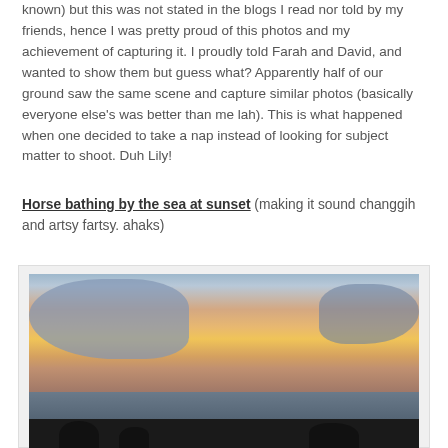known) but this was not stated in the blogs I read nor told by my friends, hence I was pretty proud of this photos and my achievement of capturing it. I proudly told Farah and David, and wanted to show them but guess what? Apparently half of our ground saw the same scene and capture similar photos (basically everyone else's was better than me lah). This is what happened when one decided to take a nap instead of looking for subject matter to shoot. Duh Lily!
Horse bathing by the sea at sunset (making it sound changgih and artsy fartsy. ahaks)
[Figure (photo): A sunset photo at the sea showing a colorful sky with orange, yellow, and blue-purple clouds, the sea in the middle, and dark silhouettes of horses and people in the foreground at the bottom.]